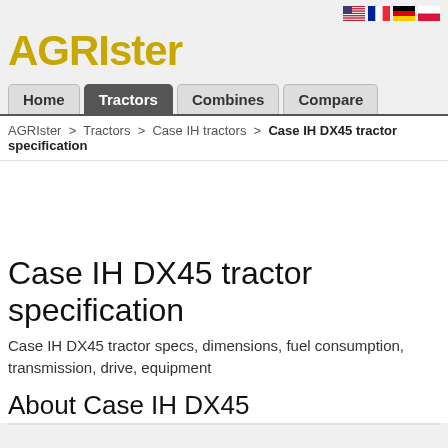AGRIster
[Figure (illustration): Four country flag icons: USA, France, Germany, Poland]
Home | Tractors | Combines | Compare (navigation bar)
AGRIster > Tractors > Case IH tractors > Case IH DX45 tractor specification
Case IH DX45 tractor specification
Case IH DX45 tractor specs, dimensions, fuel consumption, transmission, drive, equipment
About Case IH DX45